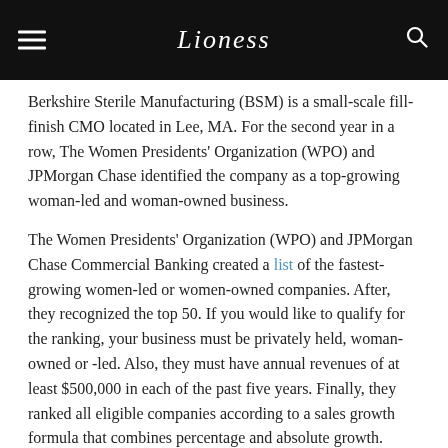Lioness
Berkshire Sterile Manufacturing (BSM) is a small-scale fill-finish CMO located in Lee, MA. For the second year in a row, The Women Presidents' Organization (WPO) and JPMorgan Chase identified the company as a top-growing woman-led and woman-owned business.
The Women Presidents' Organization (WPO) and JPMorgan Chase Commercial Banking created a list of the fastest-growing women-led or women-owned companies. After, they recognized the top 50. If you would like to qualify for the ranking, your business must be privately held, woman-owned or -led. Also, they must have annual revenues of at least $500,000 in each of the past five years. Finally, they ranked all eligible companies according to a sales growth formula that combines percentage and absolute growth. From